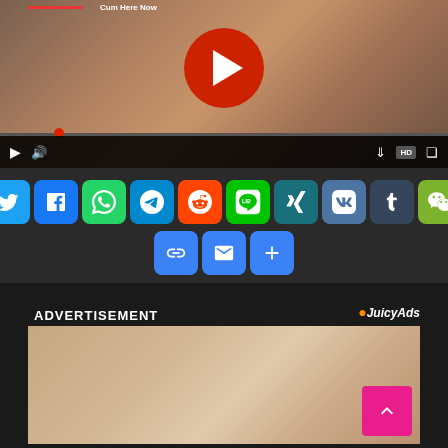[Figure (screenshot): Video player showing adult content with large red play button overlay, video progress bar, and playback controls including play, volume, download, HD and fullscreen buttons]
[Figure (infographic): Social sharing buttons row: Twitter (blue), Facebook (blue), WhatsApp (green), Telegram (blue), Reddit (orange), LINE (green), XING (teal), VK (blue-gray), Tumblr (dark), WeChat (green), followed by second row: Copy link (blue), Email (blue), More/Add (blue)]
ADVERTISEMENT
[Figure (screenshot): Advertisement banner from JuicyAds showing adult video content thumbnail]